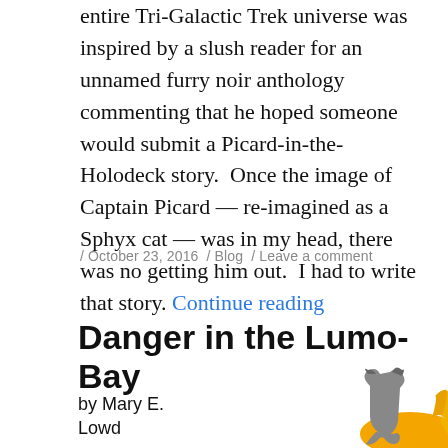entire Tri-Galactic Trek universe was inspired by a slush reader for an unnamed furry noir anthology commenting that he hoped someone would submit a Picard-in-the-Holodeck story.  Once the image of Captain Picard — re-imagined as a Sphyx cat — was in my head, there was no getting him out.  I had to write that story. Continue reading
/ October 23, 2016 / Blog / Leave a comment
Danger in the Lumo-Bay
by Mary E. Lowd
[Figure (illustration): Partial illustration of cartoon animal characters — a grey cat-like figure and orange/yellow shapes suggesting a sci-fi scene, likely book cover art for 'Danger in the Lumo-Bay'.]